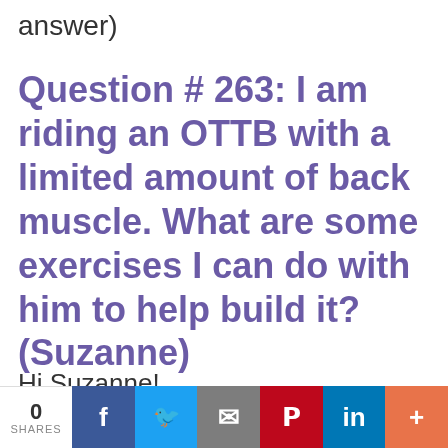answer)
Question # 263: I am riding an OTTB with a limited amount of back muscle. What are some exercises I can do with him to help build it? (Suzanne)
Hi Suzanne!
0 SHARES | f | tweet | email | pinterest | in | +